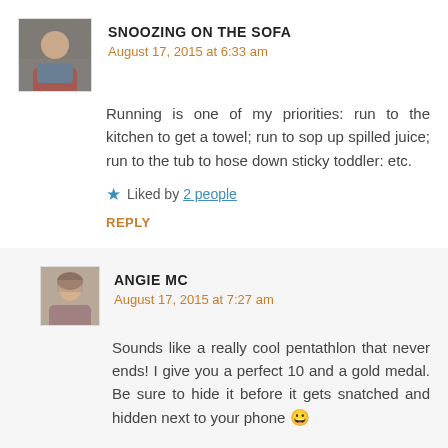[Figure (photo): Avatar photo of Snoozing on the Sofa commenter — person in casual clothing]
SNOOZING ON THE SOFA
August 17, 2015 at 6:33 am
Running is one of my priorities: run to the kitchen to get a towel; run to sop up spilled juice; run to the tub to hose down sticky toddler: etc.
★ Liked by 2 people
REPLY
[Figure (photo): Avatar photo of Angie MC commenter — woman with light hair]
ANGIE MC
August 17, 2015 at 7:27 am
Sounds like a really cool pentathlon that never ends! I give you a perfect 10 and a gold medal. Be sure to hide it before it gets snatched and hidden next to your phone 😀